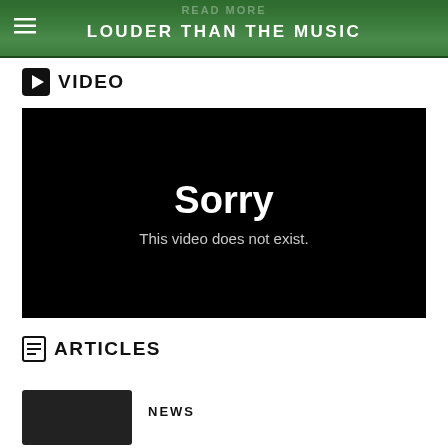LOUDER THAN THE MUSIC
VIDEO
[Figure (screenshot): Video player showing error message: Sorry, This video does not exist.]
ARTICLES
[Figure (screenshot): Thumbnail preview of an article, dark/black image]